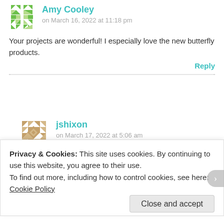[Figure (illustration): Avatar icon for Amy Cooley — green/teal geometric pattern avatar]
Amy Cooley
on March 16, 2022 at 11:18 pm
Your projects are wonderful! I especially love the new butterfly products.
Reply
[Figure (illustration): Avatar icon for jshixon — tan/beige geometric pattern avatar]
jshixon
on March 17, 2022 at 5:06 am
Cool projects! I love the pinwheels on the cupcakes. I think kids
Privacy & Cookies: This site uses cookies. By continuing to use this website, you agree to their use.
To find out more, including how to control cookies, see here: Cookie Policy
Close and accept